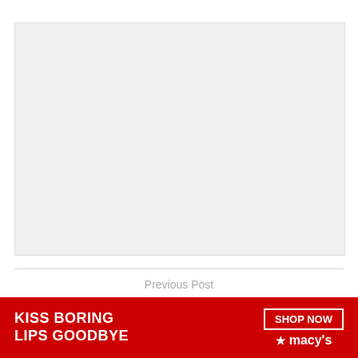[Figure (photo): Light gray placeholder image area, no visible content]
Previous Post
Nikki Grahame's mother brands lockdown the [CLOSE] low for
[Figure (photo): Macy's advertisement banner: red background with woman's face, text 'KISS BORING LIPS GOODBYE', 'SHOP NOW' button, and Macy's logo with star]